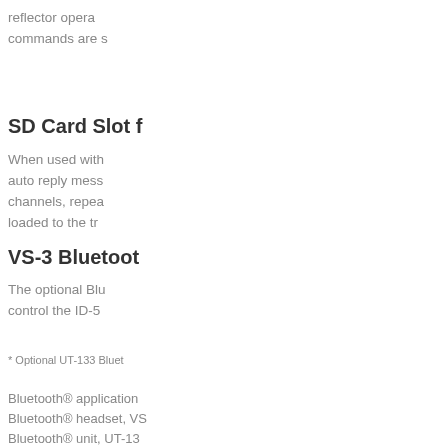reflector opera... commands are s...
SD Card Slot f...
When used with... auto reply mess... channels, repea... loaded to the tr...
VS-3 Bluetoot...
The optional Blu... control the ID-5...
* Optional UT-133 Bluet...
Bluetooth® application ...
Bluetooth® headset, VS...
Bluetooth® unit, UT-13...
RS-MS1A Andr...